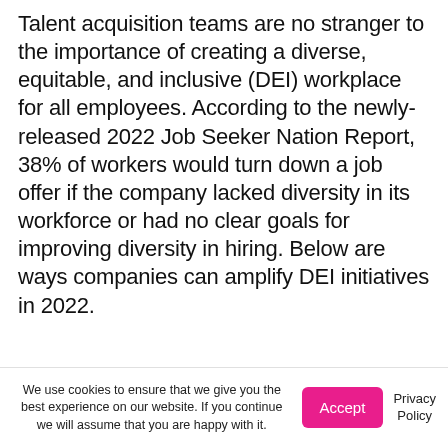Talent acquisition teams are no stranger to the importance of creating a diverse, equitable, and inclusive (DEI) workplace for all employees. According to the newly-released 2022 Job Seeker Nation Report, 38% of workers would turn down a job offer if the company lacked diversity in its workforce or had no clear goals for improving diversity in hiring. Below are ways companies can amplify DEI initiatives in 2022.
We use cookies to ensure that we give you the best experience on our website. If you continue we will assume that you are happy with it.